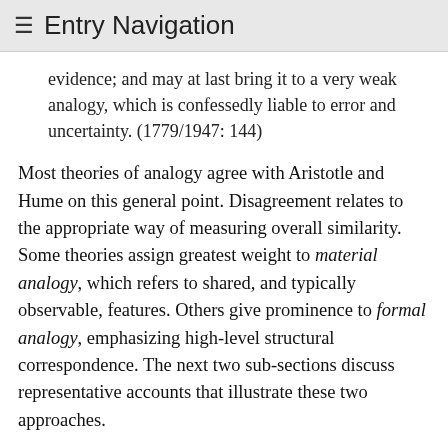≡ Entry Navigation
evidence; and may at last bring it to a very weak analogy, which is confessedly liable to error and uncertainty. (1779/1947: 144)
Most theories of analogy agree with Aristotle and Hume on this general point. Disagreement relates to the appropriate way of measuring overall similarity. Some theories assign greatest weight to material analogy, which refers to shared, and typically observable, features. Others give prominence to formal analogy, emphasizing high-level structural correspondence. The next two sub-sections discuss representative accounts that illustrate these two approaches.
3.3 Material criteria: Hesse's theory
Hesse (1966) offers a sharpened version of Aristotle's theory, specifically focused on analogical arguments in the sciences. She formulates three requirements that an analogical argument must satisfy in order to be